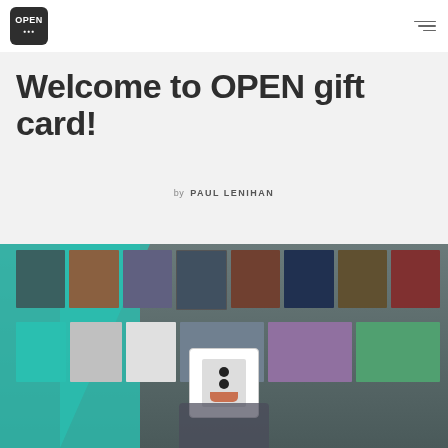[Figure (logo): OPEN logo — dark rounded square with white OPEN text]
Welcome to OPEN gift card!
by PAUL LENIHAN
[Figure (photo): Person standing in a record store holding a vinyl album cover in front of their face; walls lined with album covers; teal/turquoise accent color on left side]